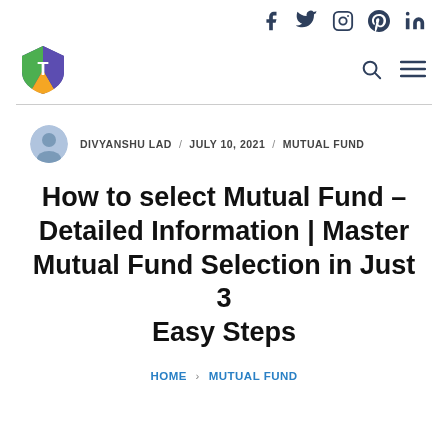Social media icons: Facebook, Twitter, Instagram, Pinterest, LinkedIn
[Figure (logo): T-shaped shield logo with green, orange, and purple segments with letter T]
DIVYANSHU LAD / JULY 10, 2021 / MUTUAL FUND
How to select Mutual Fund – Detailed Information | Master Mutual Fund Selection in Just 3 Easy Steps
HOME > MUTUAL FUND